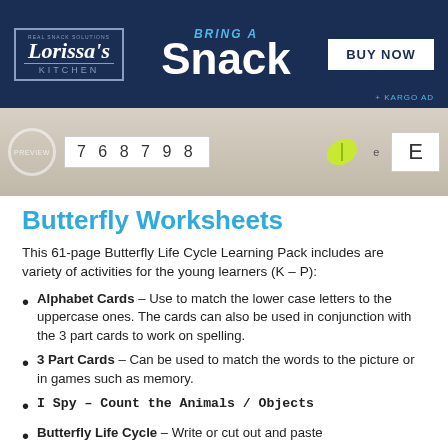[Figure (screenshot): Lorissa's Kitchen advertisement banner with dark navy background. Logo on left, 'BRING A Snack' text in center, 'BUY NOW' button on right, '+ KARGO AD' branding at bottom right.]
[Figure (photo): Photo strip showing number cards (7 6 8 7 9 8), a yellow-green leaf illustration, a lowercase 'e' card, and an uppercase 'E' card on a wooden plank background.]
Butterfly Worksheets
This 61-page Butterfly Life Cycle Learning Pack includes are variety of activities for the young learners (K – P):
Alphabet Cards – Use to match the lower case letters to the uppercase ones. The cards can also be used in conjunction with the 3 part cards to work on spelling.
3 Part Cards – Can be used to match the words to the picture or in games such as memory.
I Spy – Count the Animals / Objects
Butterfly Life Cycle – Write or cut out and paste